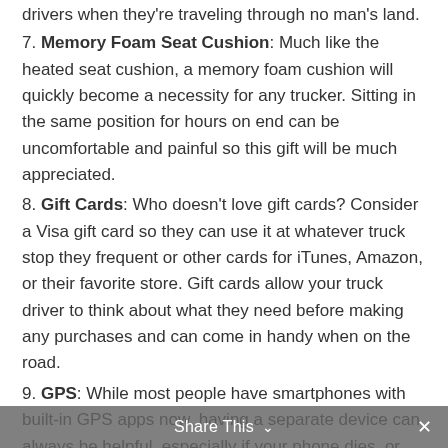drivers when they're traveling through no man's land.
7. Memory Foam Seat Cushion: Much like the heated seat cushion, a memory foam cushion will quickly become a necessity for any trucker. Sitting in the same position for hours on end can be uncomfortable and painful so this gift will be much appreciated.
8. Gift Cards: Who doesn't love gift cards? Consider a Visa gift card so they can use it at whatever truck stop they frequent or other cards for iTunes, Amazon, or their favorite store. Gift cards allow your truck driver to think about what they need before making any purchases and can come in handy when on the road.
9. GPS: While most people have smartphones with built-in GPS apps now, having a separate device can always be helpful, especially if your phone dies, or you're traveling through a strange area.
10. Power Inverter/USB Inverter: Charging smartphones
Share This